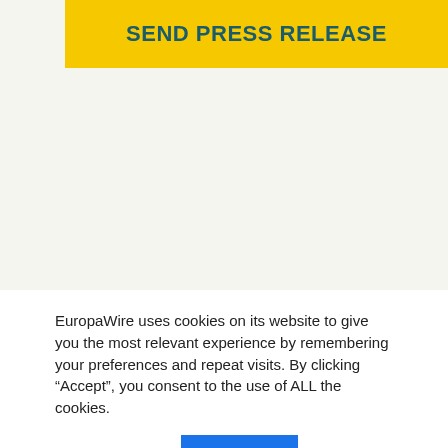SEND PRESS RELEASE
EuropaWire uses cookies on its website to give you the most relevant experience by remembering your preferences and repeat visits. By clicking “Accept”, you consent to the use of ALL the cookies.
Cookie settings | ACCEPT